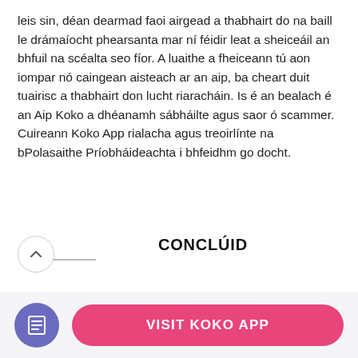leis sin, déan dearmad faoi airgead a thabhairt do na baill le drámaíocht phearsanta mar ní féidir leat a sheiceáil an bhfuil na scéalta seo fíor. A luaithe a fheiceann tú aon iompar nó caingean aisteach ar an aip, ba cheart duit tuairisc a thabhairt don lucht riaracháin. Is é an bealach é an Aip Koko a dhéanamh sábháilte agus saor ó scammer. Cuireann Koko App rialacha agus treoirlínte na bPolasaithe Príobháideachta i bhfeidhm go docht.
CONCLÚID
[Figure (infographic): Donut chart badge showing 69% in red/pink with a circular partial arc around a circle, overlapping the conclusion body text area]
tuiscint fhoriomlán ar an Aip Koko dearfach. Soláthraíonn an aip dhátú eispéireas taitneamhach
[Figure (infographic): Footer bar with a purple circle icon (document/list icon) and a pink rounded button labeled VISIT KOKO APP]